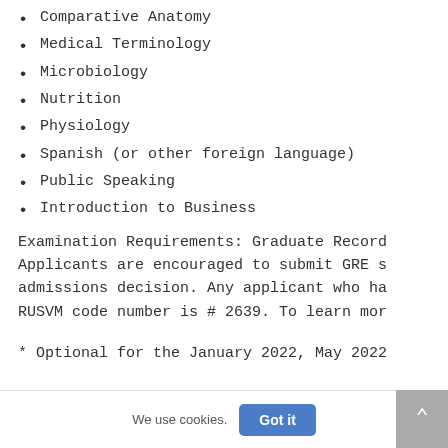Comparative Anatomy
Medical Terminology
Microbiology
Nutrition
Physiology
Spanish (or other foreign language)
Public Speaking
Introduction to Business
Examination Requirements: Graduate Record Applicants are encouraged to submit GRE s admissions decision. Any applicant who ha RUSVM code number is # 2639. To learn mor
* Optional for the January 2022, May 2022
We use cookies.
Got it